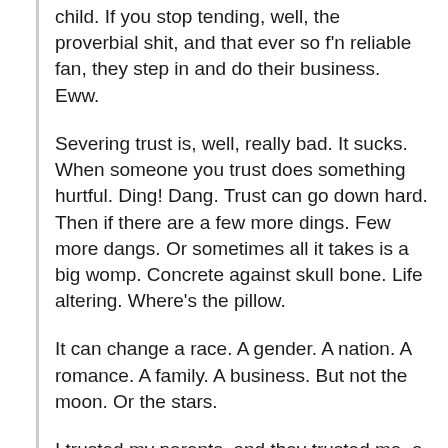child. If you stop tending, well, the proverbial shit, and that ever so f'n reliable fan, they step in and do their business. Eww.
Severing trust is, well, really bad. It sucks. When someone you trust does something hurtful. Ding! Dang. Trust can go down hard. Then if there are a few more dings. Few more dangs. Or sometimes all it takes is a big womp. Concrete against skull bone. Life altering. Where's the pillow.
It can change a race. A gender. A nation. A romance. A family. A business. But not the moon. Or the stars.
I trusted my parents, and they trusted me, a bit. It wasn't as mutual, or as strong, as I wish it was, in retrospect. I remember feeling unsafe